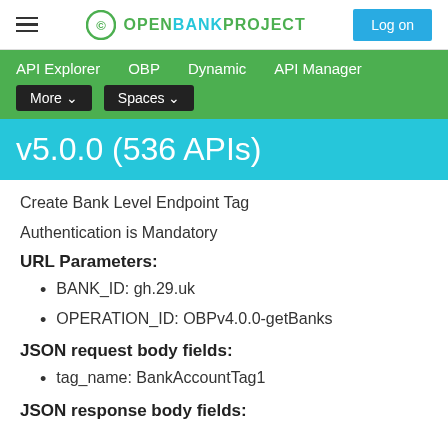OPENBANKPROJECT  Log on
API Explorer  OBP  Dynamic  API Manager  More  Spaces
v5.0.0 (536 APIs)
Create Bank Level Endpoint Tag
Authentication is Mandatory
URL Parameters:
BANK_ID: gh.29.uk
OPERATION_ID: OBPv4.0.0-getBanks
JSON request body fields:
tag_name: BankAccountTag1
JSON response body fields: